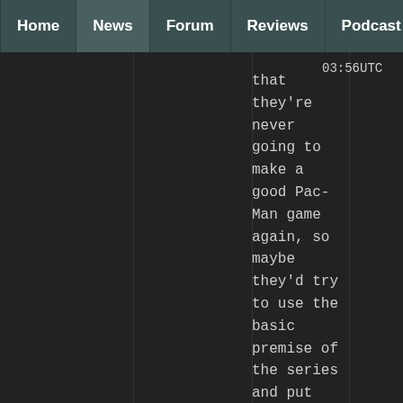Home | News | Forum | Reviews | Podcast
03:56UTC
that they're never going to make a good Pac-Man game again, so maybe they'd try to use the basic premise of the series and put cuter and